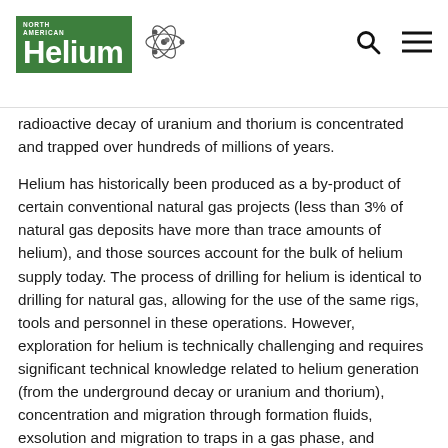North American Helium
radioactive decay of uranium and thorium is concentrated and trapped over hundreds of millions of years.
Helium has historically been produced as a by-product of certain conventional natural gas projects (less than 3% of natural gas deposits have more than trace amounts of helium), and those sources account for the bulk of helium supply today. The process of drilling for helium is identical to drilling for natural gas, allowing for the use of the same rigs, tools and personnel in these operations. However, exploration for helium is technically challenging and requires significant technical knowledge related to helium generation (from the underground decay or uranium and thorium), concentration and migration through formation fluids, exsolution and migration to traps in a gas phase, and reservoir evolution through time. Specialized expertise and methods across multiple disciplines are required to effectively search for new helium fields.